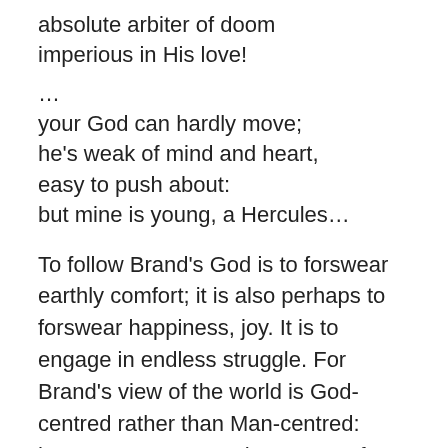absolute arbiter of doom
imperious in His love!

…
your God can hardly move;
he's weak of mind and heart,
easy to push about:
but mine is young, a Hercules…
To follow Brand's God is to forswear earthly comfort; it is also perhaps to forswear happiness, joy. It is to engage in endless struggle. For Brand's view of the world is God-centred rather than Man-centred: human contentment, human comfort, human joy, all mean nothing when placed next to God's will, and if carrying out God's will is to forfeit happiness and comfort, so be it. In this, though in little else, Brand's vision corresponds with the views of Pastor Manders in Ghosts: